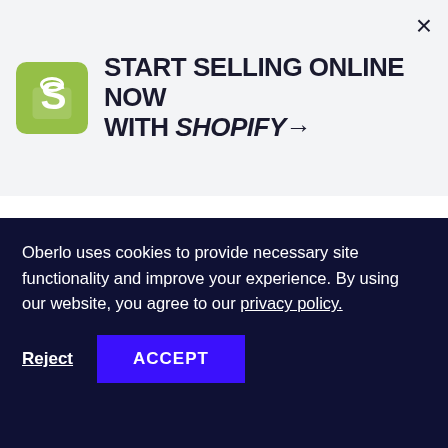[Figure (logo): Shopify bag logo in green]
START SELLING ONLINE NOW WITH SHOPIFY→
OBERLO
HOME / BLOG /
THE 10 BEST GODADDY ALTERNATIVES TO
Oberlo uses cookies to provide necessary site functionality and improve your experience. By using our website, you agree to our privacy policy.
Reject   ACCEPT